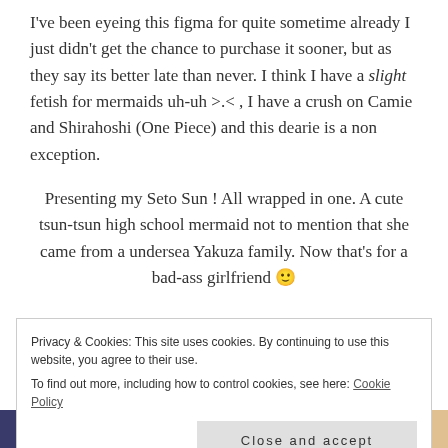I've been eyeing this figma for quite sometime already I just didn't get the chance to purchase it sooner, but as they say its better late than never. I think I have a slight fetish for mermaids uh-uh >.< , I have a crush on Camie and Shirahoshi (One Piece) and this dearie is a non exception.
Presenting my Seto Sun ! All wrapped in one. A cute tsun-tsun high school mermaid not to mention that she came from a undersea Yakuza family. Now that's for a bad-ass girlfriend 🙂
Privacy & Cookies: This site uses cookies. By continuing to use this website, you agree to their use.
To find out more, including how to control cookies, see here: Cookie Policy
Close and accept
[Figure (photo): Colorful image strip at the bottom of the page showing books or collectibles]